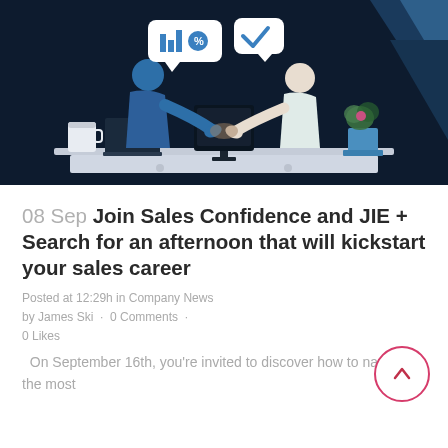[Figure (illustration): Illustration of two people shaking hands over a desk with a monitor, laptop, mug, and plant. Speech bubbles with a bar chart icon, percentage/gear icon, and checkmark icon float above. Dark navy blue background with geometric triangle shapes.]
08 Sep Join Sales Confidence and JIE + Search for an afternoon that will kickstart your sales career
Posted at 12:29h in Company News by James Ski · 0 Comments · 0 Likes
On September 16th, you're invited to discover how to navigate the most